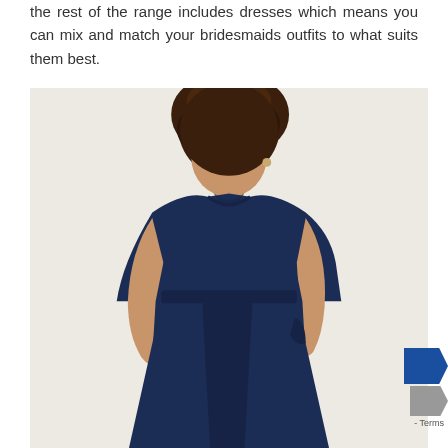the rest of the range includes dresses which means you can mix and match your bridesmaids outfits to what suits them best.
[Figure (photo): A woman with curly hair photographed from behind, wearing a navy blue sleeveless jumpsuit with wide-leg trousers and a V-back neckline, standing against a light beige background.]